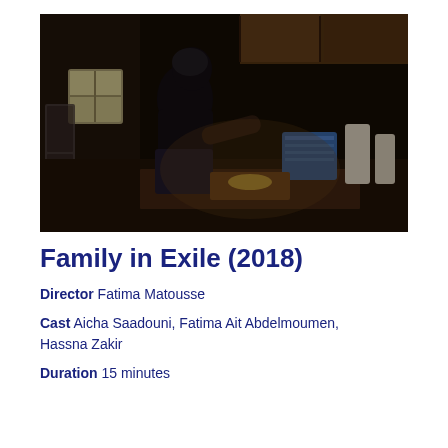[Figure (photo): A woman in a dark headscarf and floral skirt cooking or preparing food at a cluttered kitchen counter. The kitchen has wooden cabinets above, a window in the background, and various cooking items. The image is dark and moody.]
Family in Exile (2018)
Director Fatima Matousse
Cast Aicha Saadouni, Fatima Ait Abdelmoumen, Hassna Zakir
Duration 15 minutes